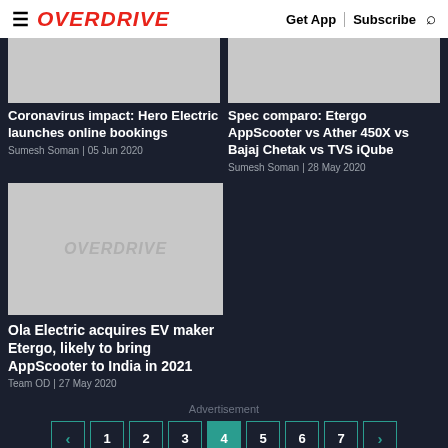OVERDRIVE | Get App | Subscribe
[Figure (photo): Placeholder image for Hero Electric article]
Coronavirus impact: Hero Electric launches online bookings
Sumesh Soman | 05 Jun 2020
[Figure (photo): Placeholder image for Etergo AppScooter vs Ather 450X article]
Spec comparo: Etergo AppScooter vs Ather 450X vs Bajaj Chetak vs TVS iQube
Sumesh Soman | 28 May 2020
[Figure (photo): Overdrive placeholder image for Ola Electric article]
Ola Electric acquires EV maker Etergo, likely to bring AppScooter to India in 2021
Team OD | 27 May 2020
Advertisement
< 1 2 3 4 5 6 7 >